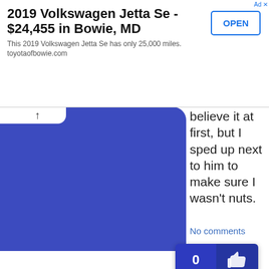[Figure (screenshot): Advertisement banner for 2019 Volkswagen Jetta Se at Toyota of Bowie]
2019 Volkswagen Jetta Se - $24,455 in Bowie, MD
This 2019 Volkswagen Jetta Se has only 25,000 miles. toyotaofbowie.com
[Figure (screenshot): Social media post with blue folder thumbnail, up chevron, text about speeding up next to someone, No comments link, and like button showing 0]
believe it at first, but I sped up next to him to make sure I wasn't nuts.
No comments
[Figure (screenshot): Second social post with holeinthewoods logo on blue background]
A teenage girl with the car filled with friends, radio cranked, on a cell phone, misses the corner in the mall parking lot. Drives half on the sidewalk scaring the crap out of customers, drives back off the sidewalk and all you hear is loud laughter from the car